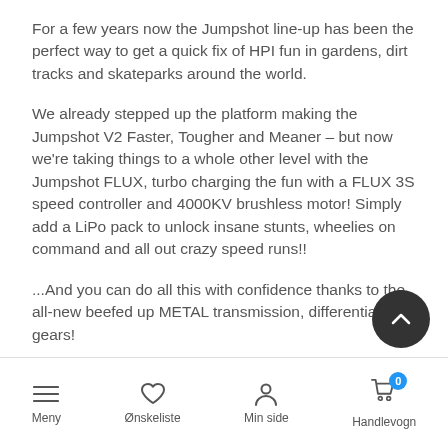For a few years now the Jumpshot line-up has been the perfect way to get a quick fix of HPI fun in gardens, dirt tracks and skateparks around the world.
We already stepped up the platform making the Jumpshot V2 Faster, Tougher and Meaner – but now we're taking things to a whole other level with the Jumpshot FLUX, turbo charging the fun with a FLUX 3S speed controller and 4000KV brushless motor! Simply add a LiPo pack to unlock insane stunts, wheelies on command and all out crazy speed runs!!
...And you can do all this with confidence thanks to the all-new beefed up METAL transmission, differential and gears!
Meny  Ønskeliste  Min side  Handlevogn